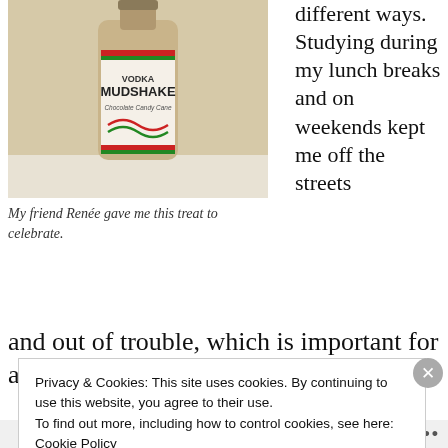[Figure (photo): A bottle of Vodka Mudshake Chocolate Candy Cane flavored drink, sitting on a light surface against a beige/cream wall background.]
My friend Renée gave me this treat to celebrate.
different ways. Studying during my lunch breaks and on weekends kept me off the streets and out of trouble, which is important for a punk like me.
Privacy & Cookies: This site uses cookies. By continuing to use this website, you agree to their use.
To find out more, including how to control cookies, see here:
Cookie Policy
Close and accept
Follow